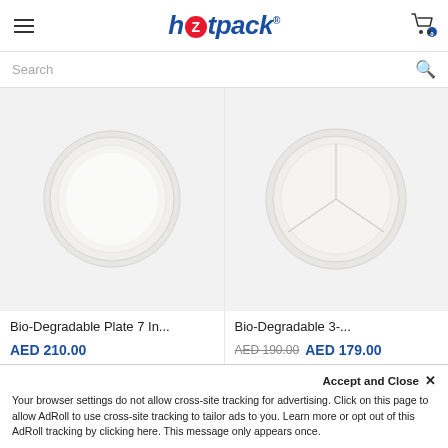hotpack - navigation header with hamburger menu, logo, and cart
Search
[Figure (photo): Bio-Degradable plain round white plate, top-down view]
Bio-Degradable Plate 7 In...
AED 210.00
[Figure (photo): Bio-Degradable 3-compartment round white plate, top-down view]
Bio-Degradable 3-...
AED 190.00  AED 179.00
Accept and Close ✕
Your browser settings do not allow cross-site tracking for advertising. Click on this page to allow AdRoll to use cross-site tracking to tailor ads to you. Learn more or opt out of this AdRoll tracking by clicking here. This message only appears once.